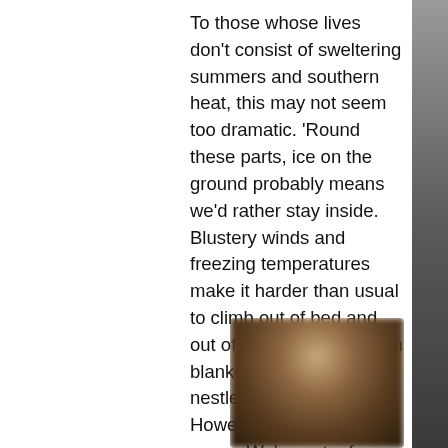To those whose lives don't consist of sweltering summers and southern heat, this may not seem too dramatic. 'Round these parts, ice on the ground probably means we'd rather stay inside. Blustery winds and freezing temperatures make it harder than usual to climb out of bed and out of the cocoon of warm blankets that you've nestled into all night. However, the show must go on. We've got a few fashion finds to help keep that comfy, cozy feeling even on the way to the studio!
[Figure (photo): A blurred photograph showing what appears to be a person or clothing item with warm brown and tan tones, heavily blurred/obscured.]